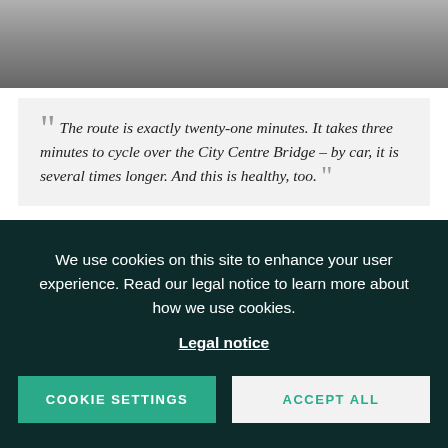[Figure (photo): Top portion of a street photo showing a bicycle and pedestrian legs on pavement, cropped at top of page.]
The route is exactly twenty-one minutes. It takes three minutes to cycle over the City Centre Bridge – by car, it is several times longer. And this is healthy, too.
Between seven and quarter to eight in the morning, cyclists came in groups of
We use cookies on this site to enhance your user experience. Read our legal notice to learn more about how we use cookies.
Legal notice
COOKIE SETTINGS
ACCEPT ALL